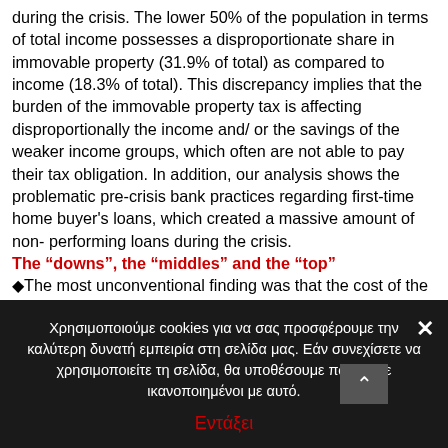during the crisis. The lower 50% of the population in terms of total income possesses a disproportionate share in immovable property (31.9% of total) as compared to income (18.3% of total). This discrepancy implies that the burden of the immovable property tax is affecting disproportionally the income and/ or the savings of the weaker income groups, which often are not able to pay their tax obligation. In addition, our analysis shows the problematic pre-crisis bank practices regarding first-time home buyer's loans, which created a massive amount of non- performing loans during the crisis.
The “downs”, the “middles” and the “top”
◆The most unconventional finding was that the cost of the crisis has been paid by everyone, the “downs”, the “middles” and the “top”, although not always in similar ways. The large majority experienced a severe and abrupt cut of their income levels while experiencing also a significant deterioration of their previous economic and social position. As a result, the economic and social
Χρησιμοποιούμε cookies για να σας προσφέρουμε την καλύτερη δυνατή εμπειρία στη σελίδα μας. Εάν συνεχίσετε να χρησιμοποιείτε τη σελίδα, θα υποθέσουμε πως είστε ικανοποιημένοι με αυτό.
Εντάξει